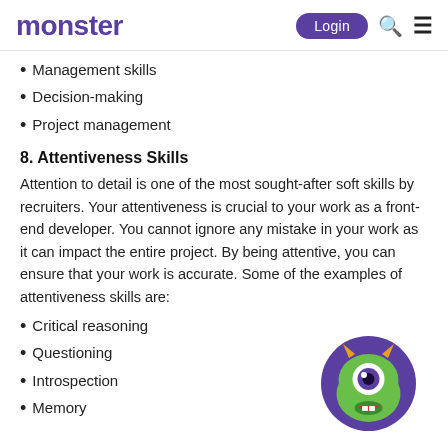monster | Login
Management skills
Decision-making
Project management
8. Attentiveness Skills
Attention to detail is one of the most sought-after soft skills by recruiters. Your attentiveness is crucial to your work as a front-end developer. You cannot ignore any mistake in your work as it can impact the entire project. By being attentive, you can ensure that your work is accurate. Some of the examples of attentiveness skills are:
Critical reasoning
Questioning
Introspection
Memory
[Figure (illustration): Monster.com mascot: a green one-eyed cartoon monster with purple horns on a purple circular background, with a small smile.]